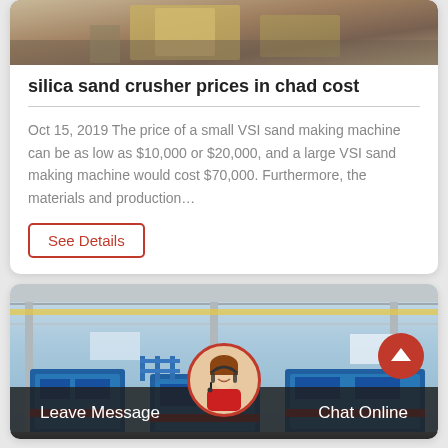[Figure (photo): Top portion of industrial equipment/crusher machine in a factory setting, cropped at top]
silica sand crusher prices in chad cost
Oct 15, 2019 The price of a small VSI sand making machine can be as low as $10,000 or $20,000, and a large VSI sand making machine would cost $70,000. Furthermore, the materials and production…
See Details
[Figure (photo): Industrial factory interior showing large blue crushing/manufacturing machines in a factory hall with overhead cranes and steel roof structure]